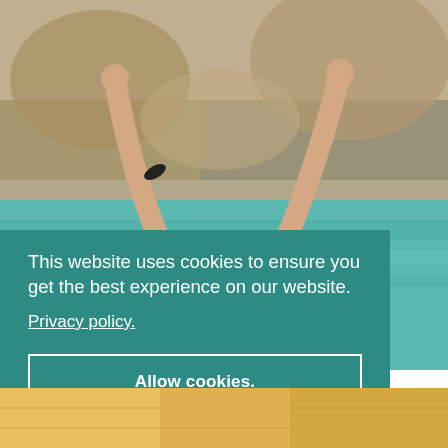[Figure (photo): Woman with long blonde hair, back turned, arms raised in yoga/meditation pose near rocky coastline with clear turquoise water]
This website uses cookies to ensure you get the best experience on our website.
Privacy policy.
Allow cookies.
[Figure (screenshot): Small reCAPTCHA widget and privacy/terms text in bottom right corner]
[Figure (photo): Partial photo visible at bottom of page showing colorful clothing/fabric]